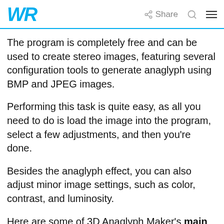WR | Share
The program is completely free and can be used to create stereo images, featuring several configuration tools to generate anaglyph using BMP and JPEG images.
Performing this task is quite easy, as all you need to do is load the image into the program, select a few adjustments, and then you’re done.
Besides the anaglyph effect, you can also adjust minor image settings, such as color, contrast, and luminosity.
Here are some of 3D Anaglyph Maker’s main features:
Completely free